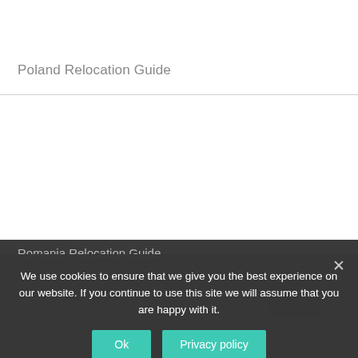Poland Relocation Guide
Romania Relocation Guide
We use cookies to ensure that we give you the best experience on our website. If you continue to use this site we will assume that you are happy with it.
Ok
Privacy policy